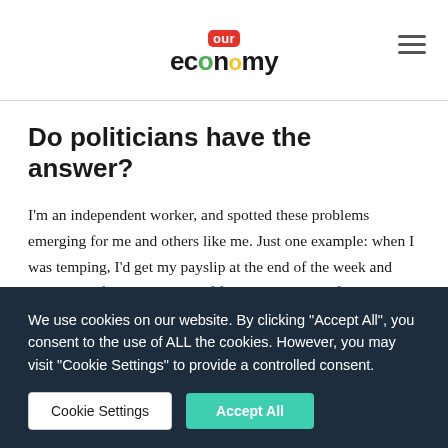our economy
Do politicians have the answer?
I'm an independent worker, and spotted these problems emerging for me and others like me. Just one example: when I was temping, I'd get my payslip at the end of the week and realise that for all my years of formal education, if the agency had deducted something wrongly, I didn't know if I would have spotted it.
So I started thinking about who had the power to solve these
We use cookies on our website. By clicking "Accept All", you consent to the use of ALL the cookies. However, you may visit "Cookie Settings" to provide a controlled consent.
Cookie Settings | Accept All